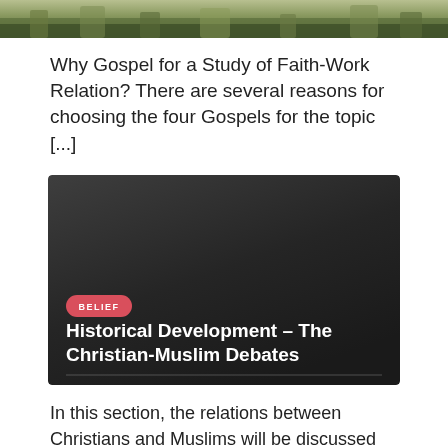[Figure (photo): Top portion of a nature/landscape photo showing vegetation]
Why Gospel for a Study of Faith-Work Relation? There are several reasons for choosing the four Gospels for the topic [...]
[Figure (infographic): Dark card with red BELIEF badge, title: Historical Development – The Christian-Muslim Debates]
In this section, the relations between Christians and Muslims will be discussed chronologically. A brief look into the discussions between [...]